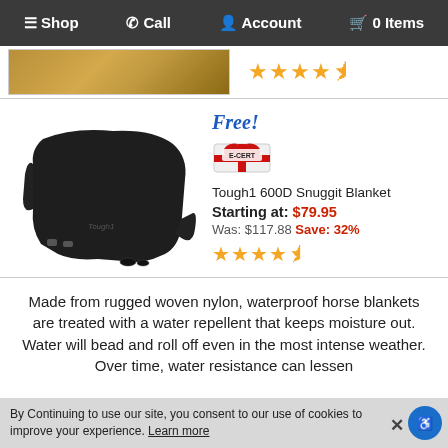☰ Shop  ✆ Call  ♟ Account  🛒 0 Items
[Figure (screenshot): Partial product image (golden/tan texture) with 4.5 star rating below it]
[Figure (photo): Tough1 600D Snuggit Blanket product listing. Shows a black horse blanket image on the left. On the right: 'Free!' label in blue italic, E-CERT badge, product title 'Tough1 600D Snuggit Blanket', Starting at: $79.95, Was: $117.88 Save: 32%, and 4.5 star rating.]
Made from rugged woven nylon, waterproof horse blankets are treated with a water repellent that keeps moisture out. Water will bead and roll off even in the most intense weather. Over time, water resistance can lessen
By Continuing to use our site, you consent to our use of cookies to improve your experience. Learn more